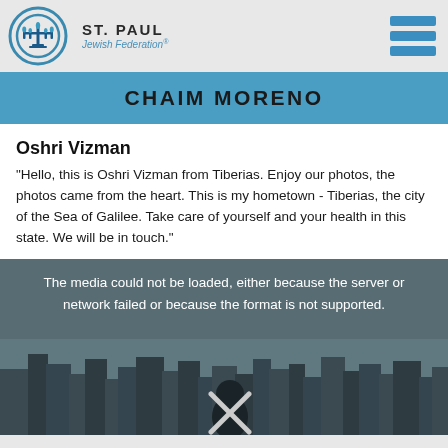[Figure (logo): St. Paul Jewish Federation logo with circular menorah icon in blue and teal, text reads ST. PAUL Jewish Federation]
CHAIM MORENO
Oshri Vizman
"Hello, this is Oshri Vizman from Tiberias. Enjoy our photos, the photos came from the heart. This is my hometown - Tiberias, the city of the Sea of Galilee. Take care of yourself and your health in this state. We will be in touch."
[Figure (screenshot): Media player error screen over a dark cityscape background showing text: The media could not be loaded, either because the server or network failed or because the format is not supported. An X close button is visible at the bottom center.]